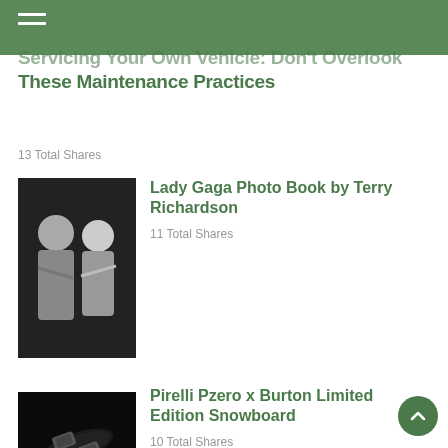Servicing Your Own Vehicle: Don't Overlook These Maintenance Practices
13 Total Shares
[Figure (photo): Black and white photo of two people, man and woman]
Lady Gaga Photo Book by Terry Richardson
11 Total Shares
[Figure (photo): Close-up of a snowboard with bindings on dark background]
Pirelli Pzero x Burton Limited Edition Snowboard
10 Total Shares
[Figure (photo): Green outdoor landscape with trees and water]
5 Simple Tips for Redecorating Your Outdoor Patio
9 Total Shares